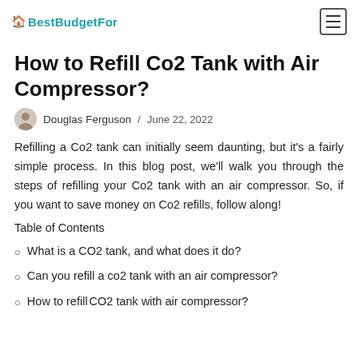BestBudgetFor
How to Refill Co2 Tank with Air Compressor?
Douglas Ferguson / June 22, 2022
Refilling a Co2 tank can initially seem daunting, but it's a fairly simple process. In this blog post, we'll walk you through the steps of refilling your Co2 tank with an air compressor. So, if you want to save money on Co2 refills, follow along!
Table of Contents
What is a CO2 tank, and what does it do?
Can you refill a co2 tank with an air compressor?
How to refill CO2 tank with air compressor?